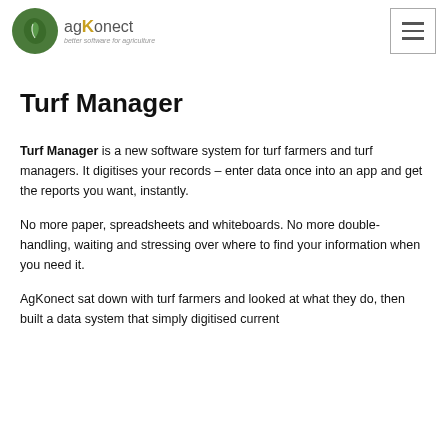agKonect — better software for agriculture
Turf Manager
Turf Manager is a new software system for turf farmers and turf managers. It digitises your records – enter data once into an app and get the reports you want, instantly.
No more paper, spreadsheets and whiteboards. No more double-handling, waiting and stressing over where to find your information when you need it.
AgKonect sat down with turf farmers and looked at what they do, then built a data system that simply digitised current